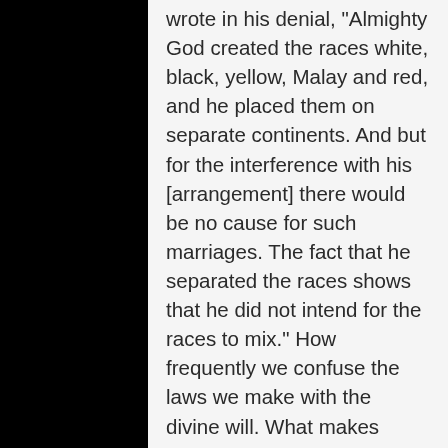wrote in his denial, "Almighty God created the races white, black, yellow, Malay and red, and he placed them on separate continents. And but for the interference with his [arrangement] there would be no cause for such marriages. The fact that he separated the races shows that he did not intend for the races to mix." How frequently we confuse the laws we make with the divine will. What makes matters worse is that often when we claim that God is on our side, we dehumanize the people involved. They are objects—sinners—criminals. Yet at the most basic level those involved need to first be recognized as beloved